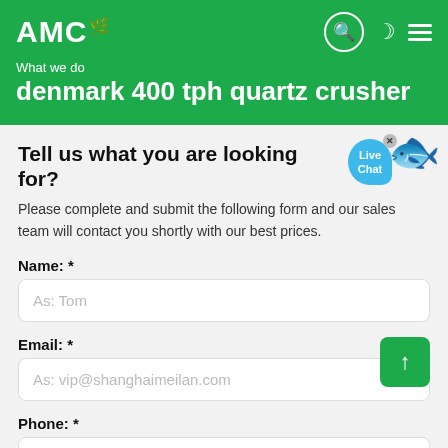AMC
What we do
denmark 400 tph quartz crusher
Tell us what you are looking for?
Please complete and submit the following form and our sales team will contact you shortly with our best prices.
Name: *
As: Tom
Email: *
As: vip@shanghaimeilan.com
Phone: *
With Country Code